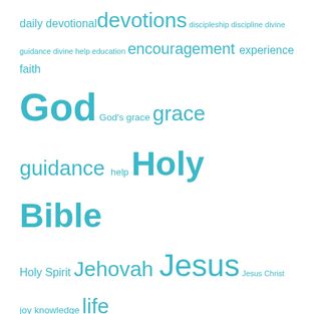[Figure (infographic): Tag cloud with religious and spiritual topics in varying teal/cyan font sizes: daily devotional, devotions, discipleship, discipline, divine guidance, divine help, education, encouragement, experience, faith, God, God's grace, grace, guidance, help, Holy Bible, Holy Spirit, Jehovah, Jesus, Jesus Christ, joy, knowledge, life, lifestyle, love, meditation, mental health, obedience, peace, people, photography, praise, prayer, prayer of thanksgiving, prayers, Proverbs, Psalm, psychology, quotes, relationship, relationships, sermons, society, strength, teaching, The Holy Bible, the Holy Spirit, trust, wisdom]
RECENT COMMENTS